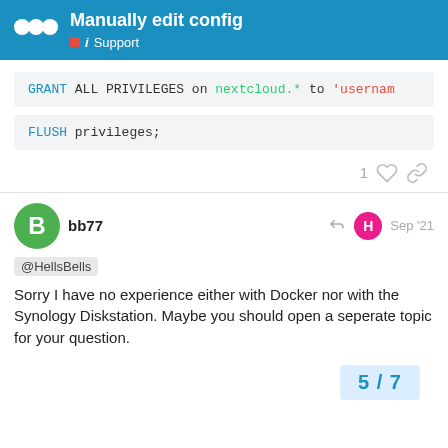Manually edit config — Support
GRANT ALL PRIVILEGES on nextcloud.* to 'username'
FLUSH privileges;
1 [like] [link]
bb77 — Sep '21
@HellsBells
Sorry I have no experience either with Docker nor with the Synology Diskstation. Maybe you should open a seperate topic for your question.
5 / 7